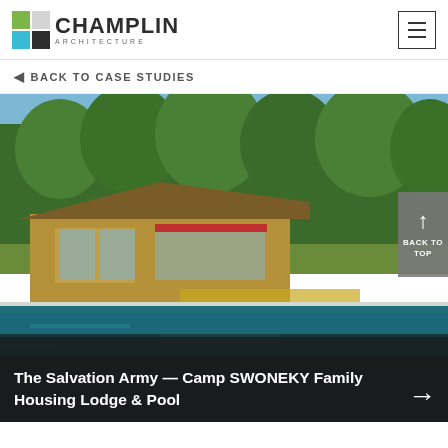[Figure (logo): Champlin Architecture logo with green and teal square icons and company name]
◀ BACK TO CASE STUDIES
[Figure (photo): Outdoor swimming pool area with a lodge building, lounge chairs, shade structures, and trees in the background at Camp SWONEKY]
BACK TO TOP
The Salvation Army — Camp SWONEKY Family Housing Lodge & Pool